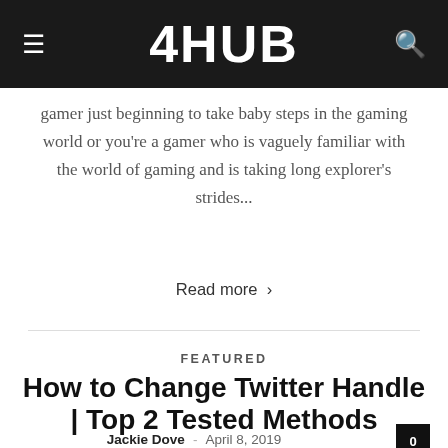4HUB
gamer just beginning to take baby steps in the gaming world or you're a gamer who is vaguely familiar with the world of gaming and is taking long explorer's strides...
Read more >
FEATURED
How to Change Twitter Handle | Top 2 Tested Methods
Jackie Dove - April 8, 2019  0